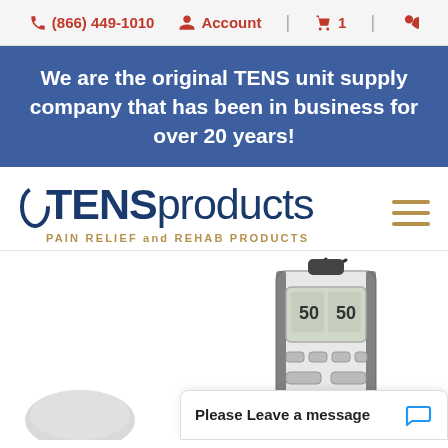(866) 449-1010  Account  | 1 | 🔍
We are the original TENS unit supply company that has been in business for over 20 years!
[Figure (logo): TENSproducts logo with arc swoosh and tagline PAIN RELIEF and REHAB PRODUCTS]
[Figure (photo): TENS unit device (portable electrotherapy unit) shown partially, with LCD display and lead wires]
Please Leave a message